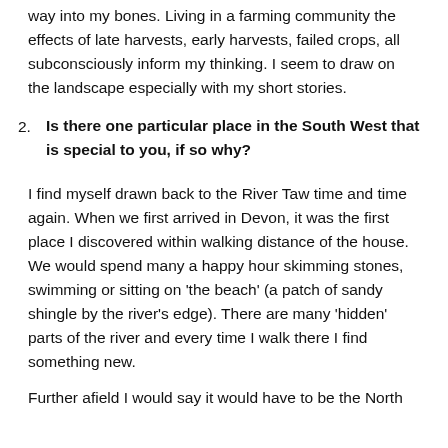way into my bones. Living in a farming community the effects of late harvests, early harvests, failed crops, all subconsciously inform my thinking. I seem to draw on the landscape especially with my short stories.
2. Is there one particular place in the South West that is special to you, if so why?
I find myself drawn back to the River Taw time and time again. When we first arrived in Devon, it was the first place I discovered within walking distance of the house. We would spend many a happy hour skimming stones, swimming or sitting on 'the beach' (a patch of sandy shingle by the river's edge). There are many 'hidden' parts of the river and every time I walk there I find something new.
Further afield I would say it would have to be the North